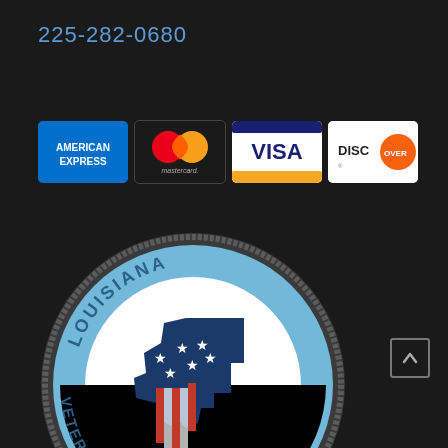225-282-0680
[Figure (logo): Four credit card logos side by side: American Express (blue), Mastercard (red/yellow circles), Visa (blue/gold), Discover (white/orange)]
[Figure (logo): Louisiana Veteran Owned Business circular seal badge. Blue circular badge with text 'LOUISIANA' arced at top and 'VETERAN OWNED BUSINESS' arced around bottom, featuring a Louisiana state shape in red/white/blue American flag style in the center.]